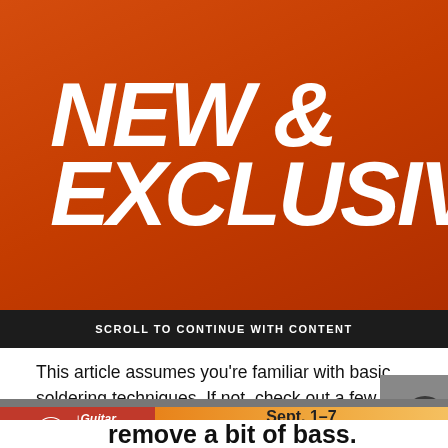[Figure (illustration): Orange advertisement banner with large bold italic white text reading 'NEW & EXCLUSIVE']
SCROLL TO CONTINUE WITH CONTENT
This article assumes you're familiar with basic soldering techniques. If not, check out a few YouTube soldering tutorials. I don't have to remind you to follow all suggested safety guidelines, do I? (Okay—you're reminded.)
[Figure (illustration): Guitar Center advertisement showing logo on red background left side, and 'Sept. 1-7' with 'Shop Now' button on orange gradient background right side]
remove a bit of bass.